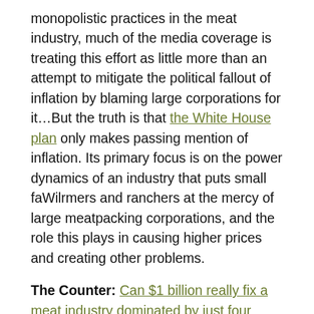monopolistic practices in the meat industry, much of the media coverage is treating this effort as little more than an attempt to mitigate the political fallout of inflation by blaming large corporations for it…But the truth is that the White House plan only makes passing mention of inflation. Its primary focus is on the power dynamics of an industry that puts small faWilrmers and ranchers at the mercy of large meatpacking corporations, and the role this plays in causing higher prices and creating other problems.
The Counter: Can $1 billion really fix a meat industry dominated by just four companies?
The Biden administration's newly announced investment in small, independent processors is intended to level the playing field. But